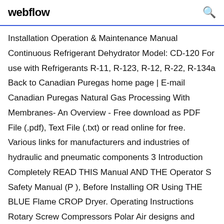webflow
Installation Operation & Maintenance Manual Continuous Refrigerant Dehydrator Model: CD-120 For use with Refrigerants R-11, R-123, R-12, R-22, R-134a Back to Canadian Puregas home page | E-mail Canadian Puregas Natural Gas Processing With Membranes- An Overview - Free download as PDF File (.pdf), Text File (.txt) or read online for free. Various links for manufacturers and industries of hydraulic and pneumatic components 3 Introduction Completely READ THIS Manual AND THE Operator S Safety Manual (P ), Before Installing OR Using THE BLUE Flame CROP Dryer. Operating Instructions Rotary Screw Compressors Polar Air designs and